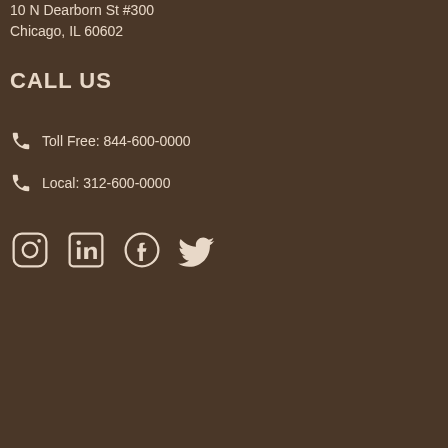10 N Dearborn St #300
Chicago, IL 60602
CALL US
Toll Free: 844-600-0000
Local: 312-600-0000
[Figure (infographic): Social media icons: Instagram, LinkedIn, Facebook, Twitter]